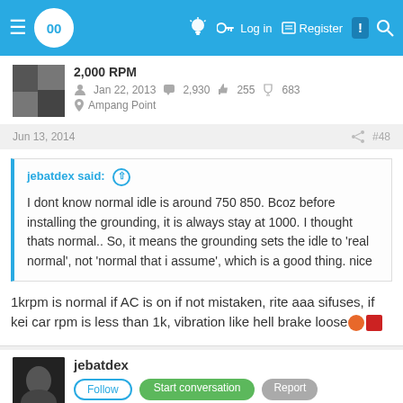Navigation bar with logo, Log in, Register, alert, and search icons
2,000 RPM
Jan 22, 2013  2,930  255  683
Ampang Point
Jun 13, 2014  #48
jebatdex said: ↑

I dont know normal idle is around 750 850. Bcoz before installing the grounding, it is always stay at 1000. I thought thats normal.. So, it means the grounding sets the idle to 'real normal', not 'normal that i assume', which is a good thing. nice
1krpm is normal if AC is on if not mistaken, rite aaa sifuses, if kei car rpm is less than 1k, vibration like hell brake loose
jebatdex